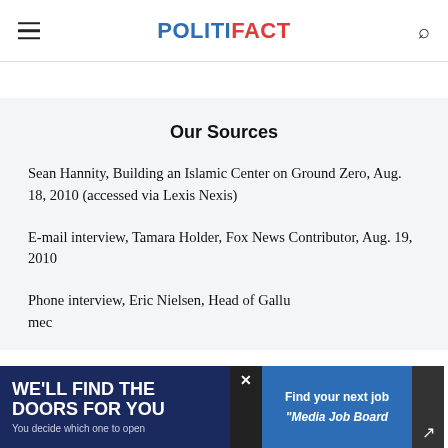POLITIFACT
Our Sources
Sean Hannity, Building an Islamic Center on Ground Zero, Aug. 18, 2010 (accessed via Lexis Nexis)
E-mail interview, Tamara Holder, Fox News Contributor, Aug. 19, 2010
Phone interview, Eric Nielsen, Head of Gallu media...